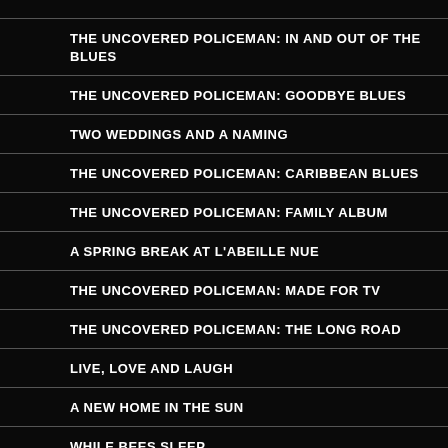THE UNCOVERED POLICEMAN: IN AND OUT OF THE BLUES
THE UNCOVERED POLICEMAN: GOODBYE BLUES
TWO WEDDINGS AND A NAMING
THE UNCOVERED POLICEMAN: CARIBBEAN BLUES
THE UNCOVERED POLICEMAN: FAMILY ALBUM
A SPRING BREAK AT L'ABEILLE NUE
THE UNCOVERED POLICEMAN: MADE FOR TV
THE UNCOVERED POLICEMAN: THE LONG ROAD
LIVE, LOVE AND LAUGH
A NEW HOME IN THE SUN
WHILE BEES SLEEP
CROOKE AND LOCH